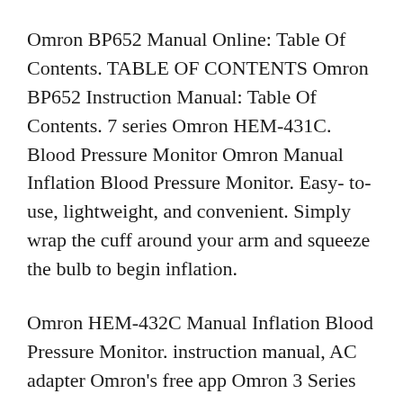Omron BP652 Manual Online: Table Of Contents. TABLE OF CONTENTS Omron BP652 Instruction Manual: Table Of Contents. 7 series Omron HEM-431C. Blood Pressure Monitor Omron Manual Inflation Blood Pressure Monitor. Easy- to-use, lightweight, and convenient. Simply wrap the cuff around your arm and squeeze the bulb to begin inflation.
Omron HEM-432C Manual Inflation Blood Pressure Monitor. instruction manual, AC adapter Omron's free app Omron 3 Series Upper Arm Blood Pressure Monitor Read and download Omron Healthcare Blood Pressure Monitor HEM-412C User's Manual online. Download free Omron Healthcare...